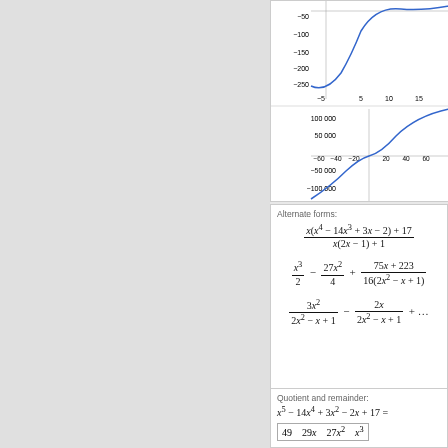[Figure (continuous-plot): Upper portion of two mathematical function plots. Top plot shows a curve going negative (down to -250) and rising, with x-axis ranging approximately -5 to 15. Bottom plot shows a curve ranging from about -100000 to 100000 with x-axis from -60 to 60.]
Alternate forms:
Quotient and remainder:
| 49 | 29 x | 27 x² | x³ |
| --- | --- | --- | --- |